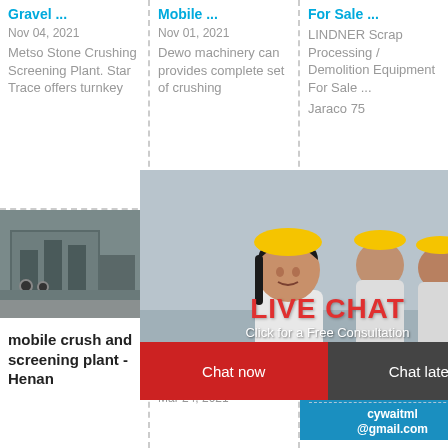Gravel ...
Nov 04, 2021
Metso Stone Crushing Screening Plant. Star Trace offers turnkey
Mobile ...
Nov 01, 2021
Dewo machinery can provides complete set of crushing
For Sale ...
LINDNER Scrap Processing / Demolition Equipment For Sale ... Jaraco 75
[Figure (photo): Industrial factory building with machinery]
mobile crush and screening plant - Henan
[Figure (photo): Industrial processing facility]
Mobile Crushers For Sale MyLittleSalesm
Mar 24, 2021
[Figure (infographic): Live chat widget with smiley face wearing headset. Shows '7 hours online', 'Click me to chat >>', 'Enquiry', 'cywaitml@gmail.com']
[Figure (photo): Live chat overlay with workers in hard hats. Text: LIVE CHAT, Click for a Free Consultation, Chat now / Chat later buttons]